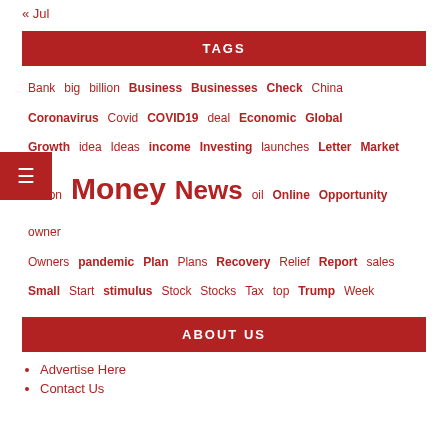« Jul
TAGS
Bank big billion Business Businesses Check China Coronavirus Covid COVID19 deal Economic Global Growth idea Ideas income Investing launches Letter Market million Money News oil Online Opportunity owner Owners pandemic Plan Plans Recovery Relief Report sales Small Start stimulus Stock Stocks Tax top Trump Week
ABOUT US
Advertise Here
Contact Us